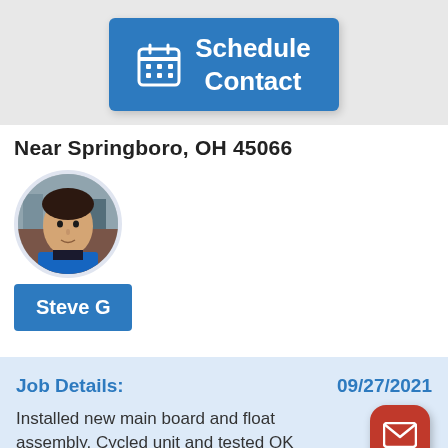[Figure (screenshot): Blue 'Schedule Contact' button with calendar icon on gray background]
Near Springboro, OH 45066
[Figure (photo): Circular profile photo of Steve G, a man in a blue shirt]
Steve G
Job Details:    09/27/2021
Installed new main board and float assembly. Cycled unit and tested OK